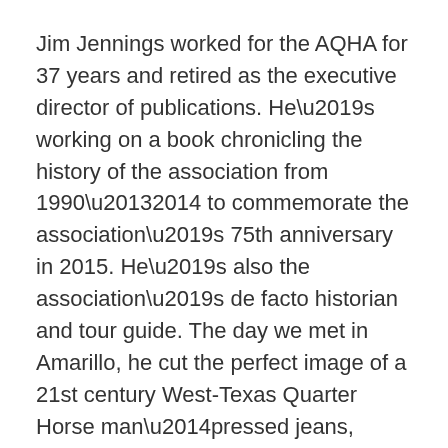Jim Jennings worked for the AQHA for 37 years and retired as the executive director of publications. He's working on a book chronicling the history of the association from 1990–2014 to commemorate the association's 75th anniversary in 2015. He's also the association's de facto historian and tour guide. The day we met in Amarillo, he cut the perfect image of a 21st century West-Texas Quarter Horse man—pressed jeans, starched shirt, and a sharp crease in his hat. He was friendly, unassuming, and a wealth of information.
“My family has literally had Quarter Horses all